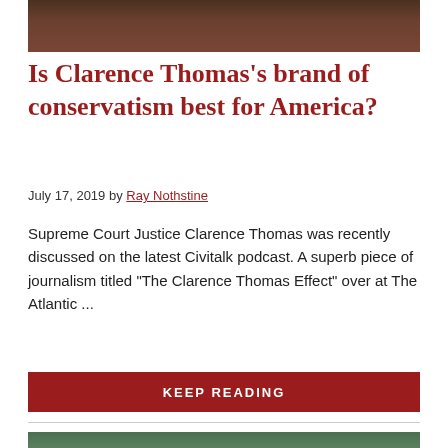[Figure (photo): Top portion of a photo of a person in judicial robes, dark background]
Is Clarence Thomas's brand of conservatism best for America?
July 17, 2019 by Ray Nothstine
Supreme Court Justice Clarence Thomas was recently discussed on the latest Civitalk podcast. A superb piece of journalism titled "The Clarence Thomas Effect" over at The Atlantic ...
KEEP READING
[Figure (photo): Bottom portion showing a person in a suit, partial crop]